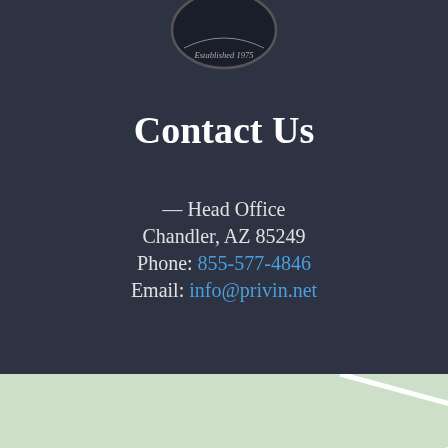[Figure (logo): Circular logo with 'Established 1975' text, partially visible at top of page]
Contact Us
— Head Office
Chandler, AZ 85249
Phone: 855-577-4846
Email: info@privin.net
[Figure (map): Google Maps style map showing a rural area with road labels 5523, 5530, 5365, Hamilton Creek label, a green location pin, and a white scroll-to-top button in the bottom right corner]